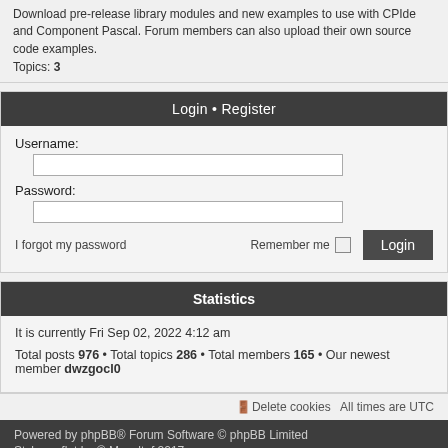Download pre-release library modules and new examples to use with CPIde and Component Pascal. Forum members can also upload their own source code examples.
Topics: 3
Login • Register
Username:
Password:
I forgot my password    Remember me    Login
Statistics
It is currently Fri Sep 02, 2022 4:12 am
Total posts 976 • Total topics 286 • Total members 165 • Our newest member dwzgocl0
Delete cookies   All times are UTC
Powered by phpBB® Forum Software © phpBB Limited
Style proflat by © Mazeltof 2017
Privacy | Terms